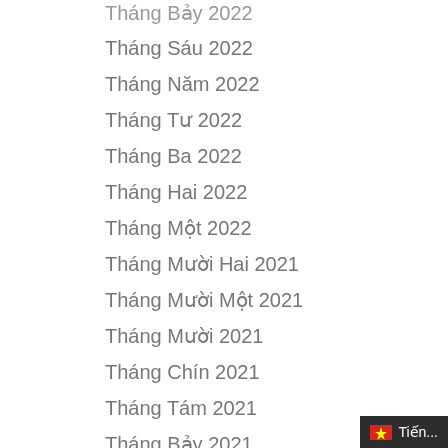Tháng Bảy 2022
Tháng Sáu 2022
Tháng Năm 2022
Tháng Tư 2022
Tháng Ba 2022
Tháng Hai 2022
Tháng Một 2022
Tháng Mười Hai 2021
Tháng Mười Một 2021
Tháng Mười 2021
Tháng Chín 2021
Tháng Tám 2021
Tháng Bảy 2021
Tháng Sáu 2021
Tháng Năm 2021